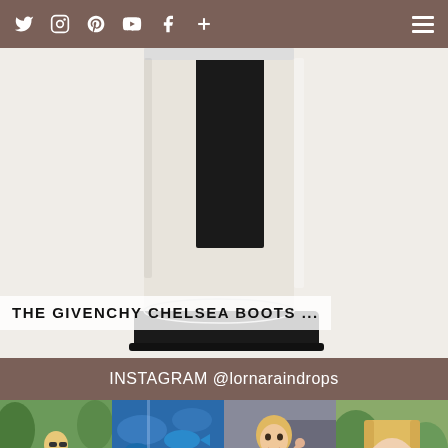Navigation bar with social icons: Twitter, Instagram, Pinterest, YouTube, Facebook, Plus sign, and hamburger menu
[Figure (photo): Close-up of a white Givenchy Chelsea boot with black elastic side panel and thick black platform sole on a light background]
THE GIVENCHY CHELSEA BOOTS ...
INSTAGRAM @lornaraindrops
[Figure (photo): Four Instagram photos: 1) blonde woman in red crop top and black shorts on a wooden walkway with greenery, 2) blonde woman looking up at aquarium glass with blue water and fish, 3) woman in floral dress posing outdoors, 4) blonde woman with long hair in white off-shoulder top in park setting]